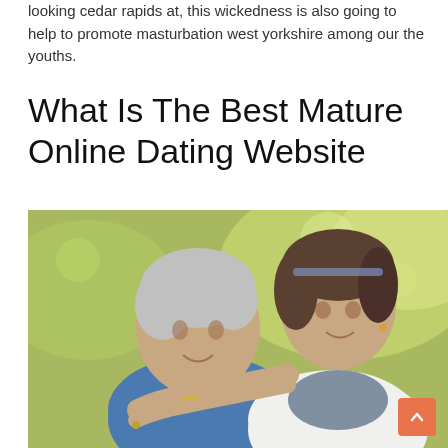looking cedar rapids at, this wickedness is also going to help to promote masturbation west yorkshire among our the youths.
What Is The Best Mature Online Dating Website
[Figure (photo): Two women smiling outdoors — an elderly woman with short grey hair in a blue fleece jacket being hugged from behind by a middle-aged woman with dark hair in a white coat, with a blurred green and yellow foliage background.]